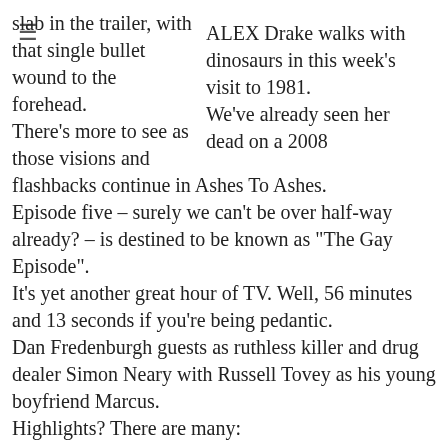≡
ALEX Drake walks with dinosaurs in this week's visit to 1981.
We've already seen her dead on a 2008 slab in the trailer, with that single bullet wound to the forehead.
There's more to see as those visions and flashbacks continue in Ashes To Ashes.
Episode five – surely we can't be over half-way already? – is destined to be known as "The Gay Episode".
It's yet another great hour of TV. Well, 56 minutes and 13 seconds if you're being pedantic.
Dan Fredenburgh guests as ruthless killer and drug dealer Simon Neary with Russell Tovey as his young boyfriend Marcus.
Highlights? There are many: